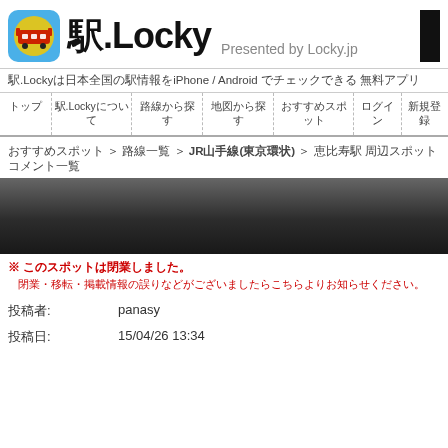駅.Locky  Presented by Locky.jp
駅.Lockyは日本全国の駅情報をiPhone / Android でチェックできる 無料アプリ
トップ  駅.Lockyについて  路線から探す  地図から探す  おすすめスポット  ログイン  新規登録
おすすめスポット ＞ 路線一覧 ＞ JR山手線(東京環状) ＞ 恵比寿駅 周辺スポット コメント一覧
[Figure (photo): Dark map/station area image]
※ このスポットは閉業しました。
閉業・移転・掲載情報の誤りなどがございましたらこちらよりお知らせください。
投稿者:          panasy
投稿日:          15/04/26 13:34